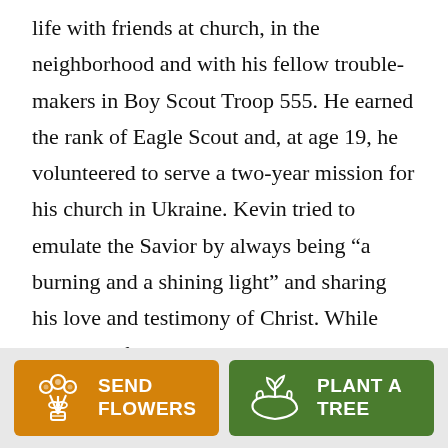life with friends at church, in the neighborhood and with his fellow trouble-makers in Boy Scout Troop 555. He earned the rank of Eagle Scout and, at age 19, he volunteered to serve a two-year mission for his church in Ukraine. Kevin tried to emulate the Savior by always being “a burning and a shining light” and sharing his love and testimony of Christ. While preparing for his mission and learning the language, he met the love of his life, Maria, and when he returned, they started their little family, which now includes one-year old Ethan Carter Ryan, who carries on his name
[Figure (other): Two call-to-action buttons side by side on a grey footer bar: an orange 'SEND FLOWERS' button with a bouquet icon, and a green 'PLANT A TREE' button with a plant/hand icon.]